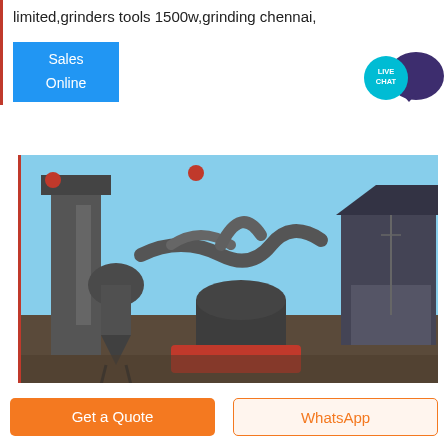limited,grinders tools 1500w,grinding chennai,
[Figure (other): Sales Online blue button with Live Chat bubble icon on the right]
[Figure (photo): Industrial grinding mill facility with large grey machinery, pipes, cyclone dust collectors, and metal buildings under a blue sky]
Get a Quote
WhatsApp